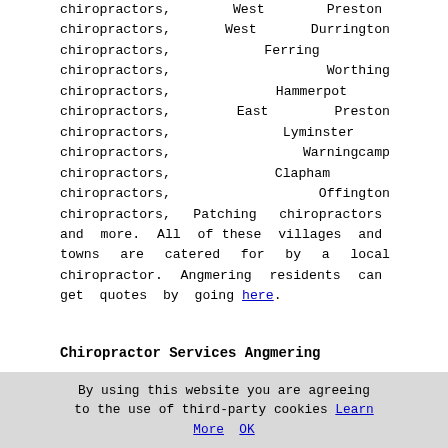chiropractors, West Preston chiropractors, West Durrington chiropractors, Ferring chiropractors, Worthing chiropractors, Hammerpot chiropractors, East Preston chiropractors, Lyminster chiropractors, Warningcamp chiropractors, Clapham chiropractors, Offington chiropractors, Patching chiropractors and more. All of these villages and towns are catered for by a local chiropractor. Angmering residents can get quotes by going here.
Chiropractor Services Angmering
[Figure (screenshot): Web widget with teal header 'Find a Chiropractor in Angmering Here', containing a form with dropdown 'What service do you need?' set to '- Chiropractor -' and a second dropdown 'Where do you need it?' set to '- Select Location -']
By using this website you are agreeing to the use of third-party cookies Learn More OK